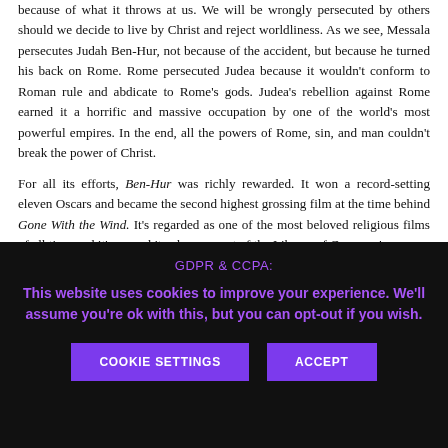because of what it throws at us. We will be wrongly persecuted by others should we decide to live by Christ and reject worldliness. As we see, Messala persecutes Judah Ben-Hur, not because of the accident, but because he turned his back on Rome. Rome persecuted Judea because it wouldn't conform to Roman rule and abdicate to Rome's gods. Judea's rebellion against Rome earned it a horrific and massive occupation by one of the world's most powerful empires. In the end, all the powers of Rome, sin, and man couldn't break the power of Christ.
For all its efforts, Ben-Hur was richly rewarded. It won a record-setting eleven Oscars and became the second highest grossing film at the time behind Gone With the Wind. It's regarded as one of the most beloved religious films of all time and it's earned its place as part of the Library of Congress's
GDPR & CCPA:
This website uses cookies to improve your experience. We'll assume you're ok with this, but you can opt-out if you wish.
COOKIE SETTINGS
ACCEPT